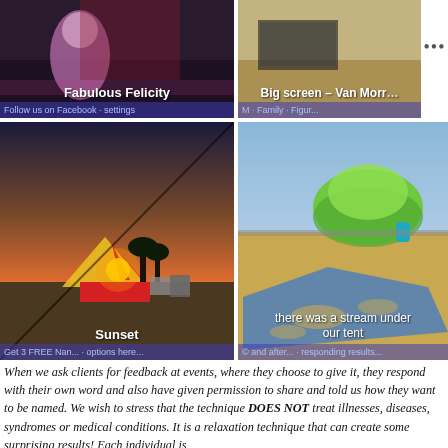[Figure (photo): Festival photo with performer - captioned 'Fabulous Felicity']
[Figure (photo): Big screen at outdoor event - captioned 'Big screen – Van Morr...']
[Figure (photo): Sunset photo with circus tent in field - captioned 'Sunset']
[Figure (photo): Green tent on muddy/sandy ground with blue tarpaulin - captioned 'there was a stream under our tent']
When we ask clients for feedback at events, where they choose to give it, they respond with their own word and also have given permission to share and told us how they want to be named. We wish to stress that the technique DOES NOT treat illnesses, diseases, syndromes or medical conditions. It is a relaxation technique that can create some surprising results! Each individual is